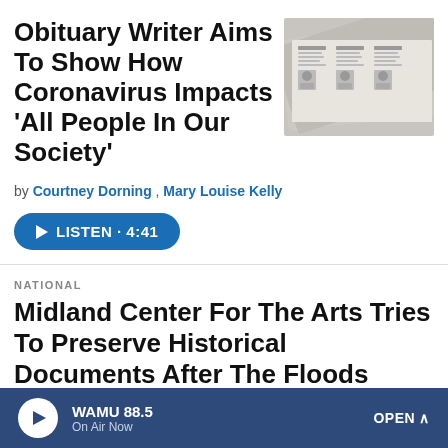Obituary Writer Aims To Show How Coronavirus Impacts 'All People In Our Society'
[Figure (photo): Close-up photo of stacked/folded newspapers showing obituary columns with portrait photos]
by Courtney Dorning , Mary Louise Kelly
LISTEN · 4:41
NATIONAL
Midland Center For The Arts Tries To Preserve Historical Documents After The Floods
LISTEN · 2:04
WAMU 88.5 On Air Now OPEN ^